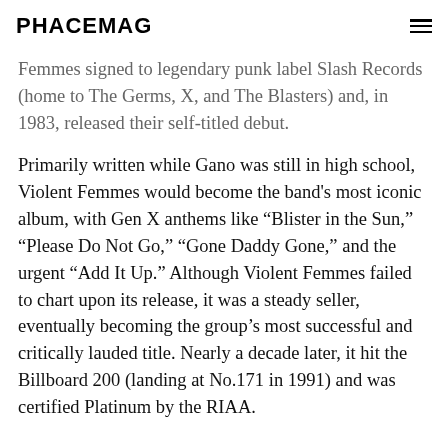PHACEMAG
Femmes signed to legendary punk label Slash Records (home to The Germs, X, and The Blasters) and, in 1983, released their self-titled debut.
Primarily written while Gano was still in high school, Violent Femmes would become the band's most iconic album, with Gen X anthems like “Blister in the Sun,” “Please Do Not Go,” “Gone Daddy Gone,” and the urgent “Add It Up.” Although Violent Femmes failed to chart upon its release, it was a steady seller, eventually becoming the group’s most successful and critically lauded title. Nearly a decade later, it hit the Billboard 200 (landing at No.171 in 1991) and was certified Platinum by the RIAA.